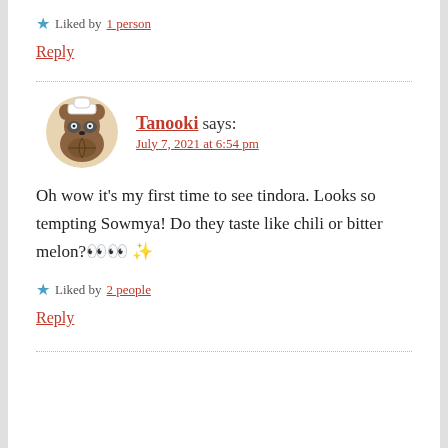★ Liked by 1 person
Reply
Tanooki says: July 7, 2021 at 6:54 pm
Oh wow it's my first time to see tindora. Looks so tempting Sowmya! Do they taste like chili or bitter melon?👀 ✨
★ Liked by 2 people
Reply